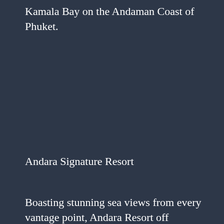Kamala Bay on the Andaman Coast of Phuket.
Andara Signature Resort
Boasting stunning sea views from every vantage point, Andara Resort off